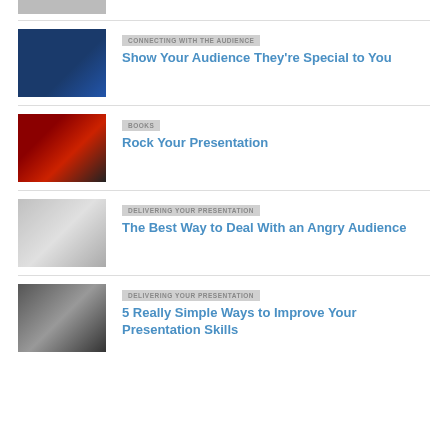[Figure (photo): Partial image of a presenter at top of page]
[Figure (photo): Man presenting on stage with blue background]
CONNECTING WITH THE AUDIENCE
Show Your Audience They're Special to You
[Figure (photo): Concert crowd with red stage lighting]
BOOKS
Rock Your Presentation
[Figure (photo): Group of professional people in suits]
DELIVERING YOUR PRESENTATION
The Best Way to Deal With an Angry Audience
[Figure (photo): Black and white photo of a speaker at microphone]
DELIVERING YOUR PRESENTATION
5 Really Simple Ways to Improve Your Presentation Skills